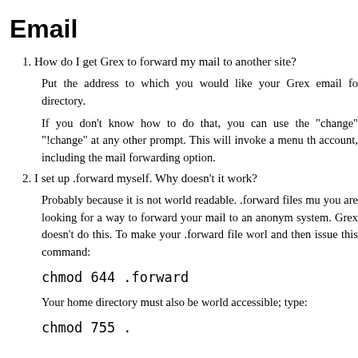Email
1. How do I get Grex to forward my mail to another site?
Put the address to which you would like your Grex email fo directory.
If you don't know how to do that, you can use the "change" "!change" at any other prompt. This will invoke a menu th account, including the mail forwarding option.
2. I set up .forward myself. Why doesn't it work?
Probably because it is not world readable. .forward files mu you are looking for a way to forward your mail to an anonym system. Grex doesn't do this. To make your .forward file worl and then issue this command:
Your home directory must also be world accessible; type: